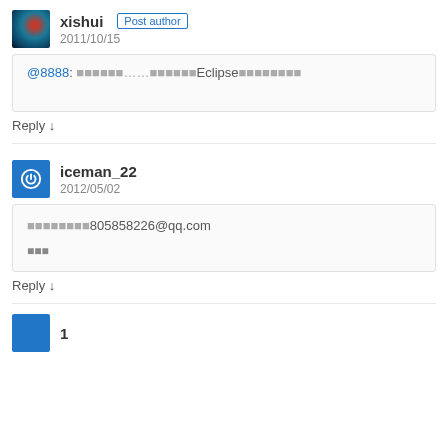xishui — Post author — 2011/10/15
@8888: ……Eclipse
Reply ↓
iceman_22 — 2012/05/02
805858226@qq.com
Reply ↓